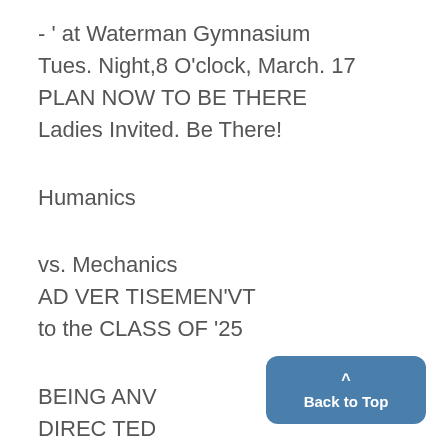- ' at Waterman Gymnasium
Tues. Night,8 O'clock, March. 17
PLAN NOW TO BE THERE
Ladies Invited. Be There!
Humanics
vs. Mechanics
AD VER TISEMEN'VT
to the CLASS OF '25
BEING ANV
DIREC TED